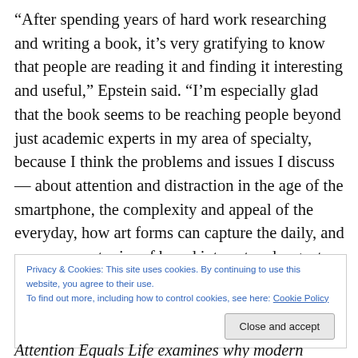“After spending years of hard work researching and writing a book, it’s very gratifying to know that people are reading it and finding it interesting and useful,” Epstein said. “I’m especially glad that the book seems to be reaching people beyond just academic experts in my area of specialty, because I think the problems and issues I discuss — about attention and distraction in the age of the smartphone, the complexity and appeal of the everyday, how art forms can capture the daily, and so on — are topics of broad interest and urgent concern in our culture
Privacy & Cookies: This site uses cookies. By continuing to use this website, you agree to their use.
To find out more, including how to control cookies, see here: Cookie Policy
[Close and accept]
Attention Equals Life examines why modern poetry and